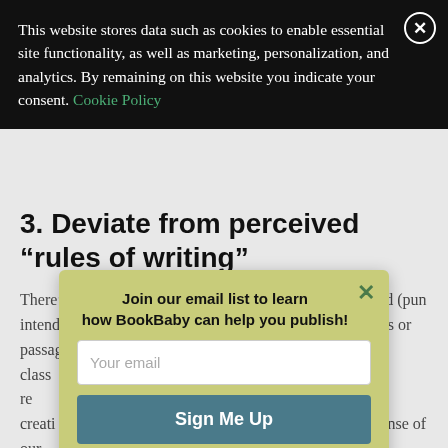This website stores data such as cookies to enable essential site functionality, as well as marketing, personalization, and analytics. By remaining on this website you indicate your consent. Cookie Policy
3. Deviate from perceived “rules of writing”
There’s little to no expressive freedom if you’re sentenced (pun intended) to conformity. Sometimes we think in fragments or passages that don’t adhere [obscured] ish-class [obscured] or the re[obscured] “gettin[obscured] ur creati[obscured] ive chanc[obscured] ense of our[obscured]
Join our email list to learn how BookBaby can help you publish!
Your email
Sign Me Up